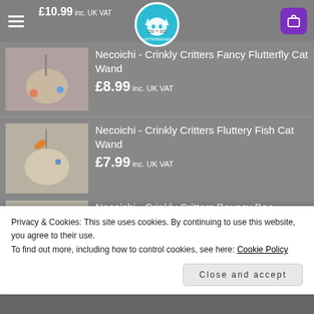£10.99 inc. UK VAT
[Figure (screenshot): Cat toy product listing screenshot from a pet shop website (KattenBakker/KOD). Shows a logo, hamburger menu, cart button, and product images.]
Necoichi - Crinkly Critters Fancy Flutterfly Cat Wand
£8.99 inc. UK VAT
Necoichi - Crinkly Critters Fluttery Fish Cat Wand
£7.99 inc. UK VAT
Necoichi - Crinkly Critters Bouncy Bee Adjustable Cat Wand
£10.99 inc. UK VAT
Cat Amazing - MEGA Interactive Cat Toy and
Privacy & Cookies: This site uses cookies. By continuing to use this website, you agree to their use.
To find out more, including how to control cookies, see here: Cookie Policy
Close and accept